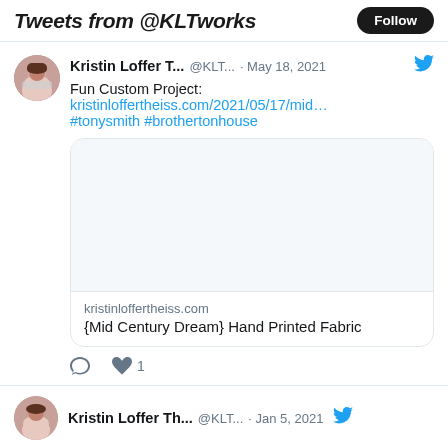Tweets from @KLTworks
Kristin Loffer T... @KLT... · May 18, 2021
Fun Custom Project:
kristinloffertheiss.com/2021/05/17/mid...
#tonysmith #brothertonhouse
[Figure (screenshot): Link preview card for kristinloffertheiss.com showing blank image area and title '{Mid Century Dream} Hand Printed Fabric']
1 like
Kristin Loffer Th... @KLT... · Jan 5, 2021